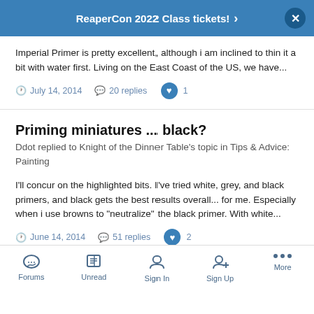ReaperCon 2022 Class tickets!
Imperial Primer is pretty excellent, although i am inclined to thin it a bit with water first. Living on the East Coast of the US, we have...
July 14, 2014   20 replies   1
Priming miniatures ... black?
Ddot replied to Knight of the Dinner Table's topic in Tips & Advice: Painting
I'll concur on the highlighted bits. I've tried white, grey, and black primers, and black gets the best results overall... for me. Especially when i use browns to "neutralize" the black primer. With white...
June 14, 2014   51 replies   2
Forums   Unread   Sign In   Sign Up   More